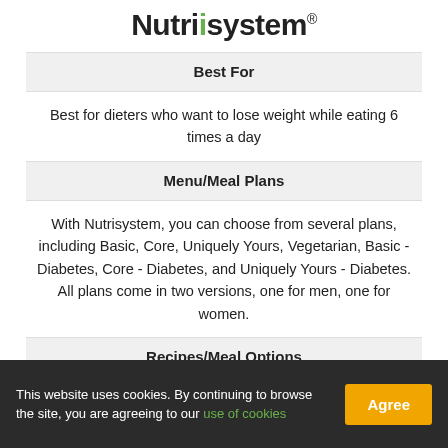[Figure (logo): Nutrisystem logo with green dot on the i and registered trademark symbol]
Best For
Best for dieters who want to lose weight while eating 6 times a day
Menu/Meal Plans
With Nutrisystem, you can choose from several plans, including Basic, Core, Uniquely Yours, Vegetarian, Basic - Diabetes, Core - Diabetes, and Uniquely Yours - Diabetes. All plans come in two versions, one for men, one for women.
Recipes/Meal Options
This website uses cookies. By continuing to browse the site, you are agreeing to our use of cookies